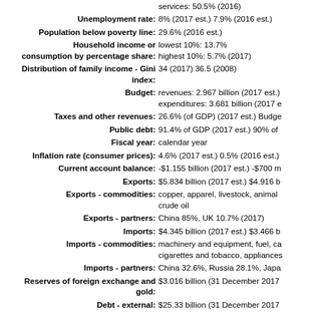services: 50.5% (2016)
Unemployment rate: 8% (2017 est.) 7.9% (2016 est.)
Population below poverty line: 29.6% (2016 est.)
Household income or consumption by percentage share: lowest 10%: 13.7% highest 10%: 5.7% (2017)
Distribution of family income - Gini index: 34 (2017) 36.5 (2008)
Budget: revenues: 2.967 billion (2017 est.) expenditures: 3.681 billion (2017 e
Taxes and other revenues: 26.6% (of GDP) (2017 est.) Budge
Public debt: 91.4% of GDP (2017 est.) 90% of
Fiscal year: calendar year
Inflation rate (consumer prices): 4.6% (2017 est.) 0.5% (2016 est.)
Current account balance: -$1.155 billion (2017 est.) -$700 m
Exports: $5.834 billion (2017 est.) $4.916 b
Exports - commodities: copper, apparel, livestock, animal crude oil
Exports - partners: China 85%, UK 10.7% (2017)
Imports: $4.345 billion (2017 est.) $3.466 b
Imports - commodities: machinery and equipment, fuel, ca cigarettes and tobacco, appliances
Imports - partners: China 32.6%, Russia 28.1%, Japa
Reserves of foreign exchange and gold: $3.016 billion (31 December 2017
Debt - external: $25.33 billion (31 December 2017